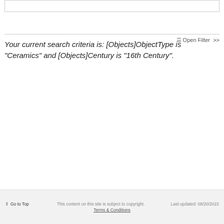Your current search criteria is: [Objects]ObjectType is "Ceramics" and [Objects]Century is "16th Century".
↑ Go to Top   This content on this site is subject to copyright.   Last updated: 08/20/2022
Terms & Conditions